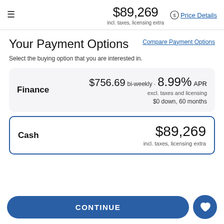$89,269 incl. taxes, licensing extra Price Details
Your Payment Options
Compare Payment Options
Select the buying option that you are interested in.
| Option | Details |
| --- | --- |
| Finance | $756.69 bi-weekly · 8.99% APR excl. taxes and licensing $0 down, 60 months |
| Cash | $89,269 incl. taxes, licensing extra |
CONTINUE